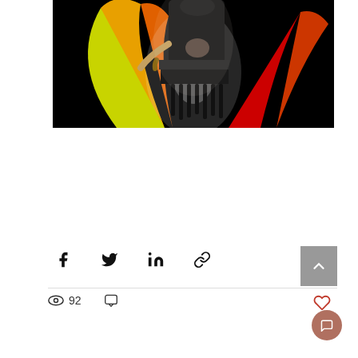[Figure (photo): Belly dancer performing with colorful fans (yellow-green and red) against a dark background, wearing a black sequined costume]
[Figure (infographic): Social share bar with Facebook, Twitter, LinkedIn, and link icons; back-to-top button; view count of 92; comment icon; heart/like icon; chat bubble button]